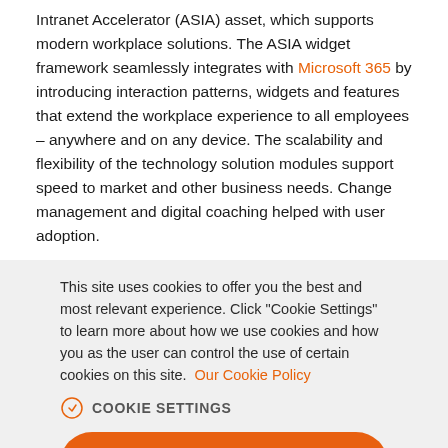Intranet Accelerator (ASIA) asset, which supports modern workplace solutions. The ASIA widget framework seamlessly integrates with Microsoft 365 by introducing interaction patterns, widgets and features that extend the workplace experience to all employees – anywhere and on any device. The scalability and flexibility of the technology solution modules support speed to market and other business needs. Change management and digital coaching helped with user adoption.
This site uses cookies to offer you the best and most relevant experience. Click "Cookie Settings" to learn more about how we use cookies and how you as the user can control the use of certain cookies on this site. Our Cookie Policy
COOKIE SETTINGS
ACCEPT COOKIES